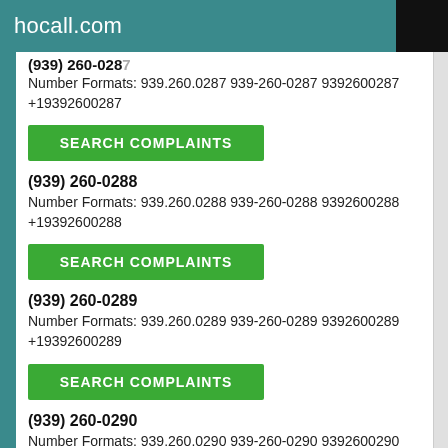hocall.com
(939) 260-0287 (truncated)
Number Formats: 939.260.0287 939-260-0287 9392600287 +19392600287
SEARCH COMPLAINTS
(939) 260-0288
Number Formats: 939.260.0288 939-260-0288 9392600288 +19392600288
SEARCH COMPLAINTS
(939) 260-0289
Number Formats: 939.260.0289 939-260-0289 9392600289 +19392600289
SEARCH COMPLAINTS
(939) 260-0290
Number Formats: 939.260.0290 939-260-0290 9392600290 +19392600290
SEARCH COMPLAINTS